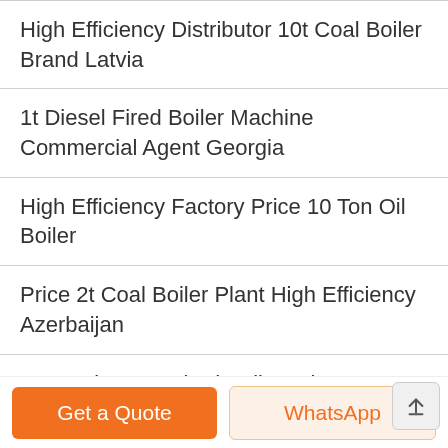High Efficiency Distributor 10t Coal Boiler Brand Latvia
1t Diesel Fired Boiler Machine Commercial Agent Georgia
High Efficiency Factory Price 10 Ton Oil Boiler
Price 2t Coal Boiler Plant High Efficiency Azerbaijan
2 Ton Biomass Fired Boiler Price Industrial Armenia
Energy Saving Supplier 8t Coal Condensing Boiler Estonia
Agent Price Commercial 8t Biomass Boiler Brand Turkmenistan